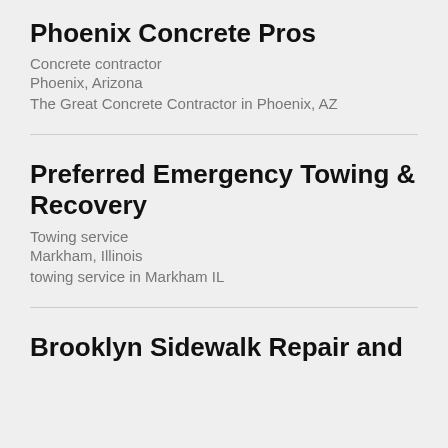Phoenix Concrete Pros
Concrete contractor
Phoenix, Arizona
The Great Concrete Contractor in Phoenix, AZ
Preferred Emergency Towing & Recovery
Towing service
Markham, Illinois
towing service in Markham IL
Brooklyn Sidewalk Repair and